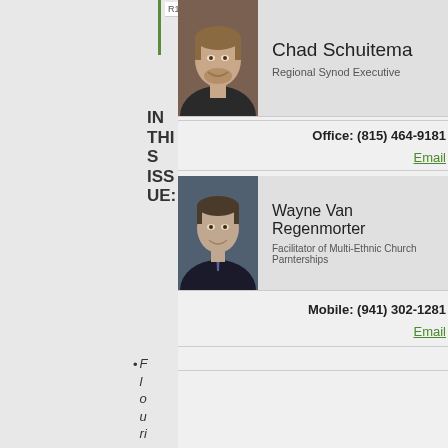IN THIS ISSUE:
[Figure (photo): Headshot of Chad Schuitema, a man with short hair and a beard, smiling]
Chad Schuitema
Regional Synod Executive
Office: (815) 464-9181
Email
[Figure (photo): Headshot of Wayne Van Regenmorter, a man in a suit and tie, smiling]
Wayne Van Regenmorter
Facilitator of Multi-Ethnic Church Parnterships
Mobile: (941) 302-1281
Email
Flourishing Church